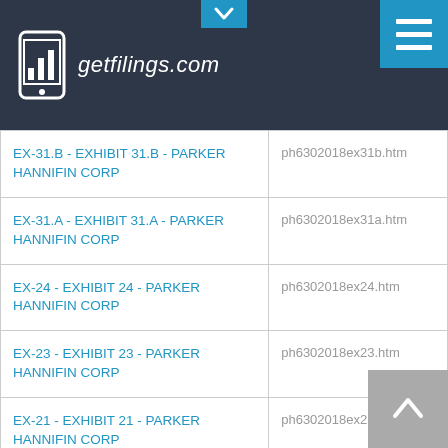getfilings.com
| Document | Filename |
| --- | --- |
| EX-31.B - EXHIBIT 31.B - PARKER HANNIFIN CORP | ph6302018ex31b.htm |
| EX-31.A - EXHIBIT 31.A - PARKER HANNIFIN CORP | ph6302018ex31a.htm |
| EX-24 - EXHIBIT 24 - PARKER HANNIFIN CORP | ph6302018ex24.htm |
| EX-23 - EXHIBIT 23 - PARKER HANNIFIN CORP | ph6302018ex23.htm |
| EX-21 - EXHIBIT 21 - PARKER HANNIFIN CORP | ph6302018ex21.htm |
| EX-12 - EXHIBIT 12 - PARKER HANNIFIN CORP | ph6302018ex12.htm |